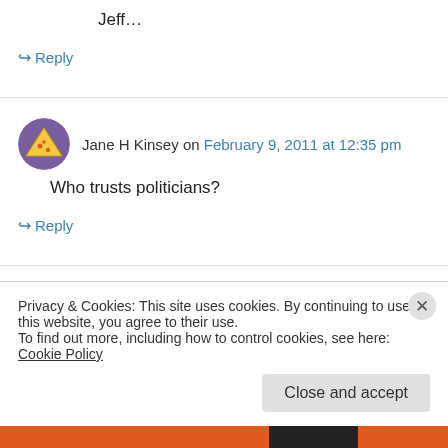Jeff…
↪ Reply
Jane H Kinsey on February 9, 2011 at 12:35 pm
Who trusts politicians?
↪ Reply
Ivy Harper on February 9, 2011 at 5:23 pm
Privacy & Cookies: This site uses cookies. By continuing to use this website, you agree to their use. To find out more, including how to control cookies, see here: Cookie Policy